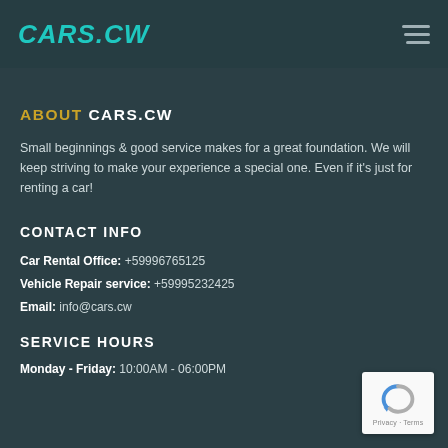CARS.CW
ABOUT CARS.CW
Small beginnings & good service makes for a great foundation. We will keep striving to make your experience a special one. Even if it's just for renting a car!
CONTACT INFO
Car Rental Office: +59996765125
Vehicle Repair service: +59995232425
Email: info@cars.cw
SERVICE HOURS
Monday - Friday: 10:00AM - 06:00PM
[Figure (logo): reCAPTCHA badge with Privacy and Terms links]